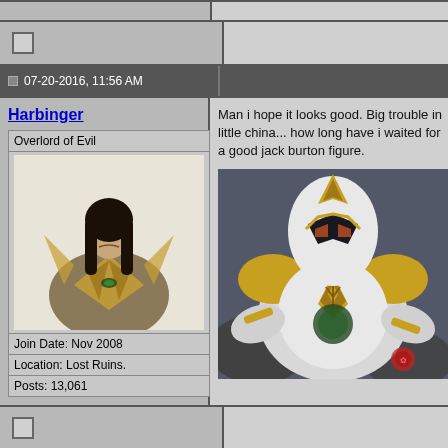07-20-2016, 11:56 AM
Harbinger
Overlord of Evil
[Figure (illustration): Avatar illustration of a dark-haired male fantasy character with armor/wings]
Join Date: Nov 2008
Location: Lost Ruins.
Posts: 13,061
Man i hope it looks good. Big trouble in little china... how long have i waited for a good jack burton figure.
[Figure (illustration): Power Ranger/armored hero in gold and white armor with a dragon/trident emblem chest piece]
07-20-2016, 12:15 PM
greendragon
interesting news - although I am not so sure. Their likenesses have been spotty still as